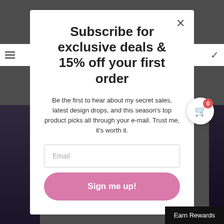[Figure (screenshot): Website background showing dark overlay with partial product images visible on left side and a site header bar with hamburger menu and cart icon.]
Subscribe for exclusive deals & 15% off your first order
Be the first to hear about my secret sales, latest design drops, and this season's top product picks all through your e-mail. Trust me, it's worth it.
Email
Sign me up!
Earn Rewards